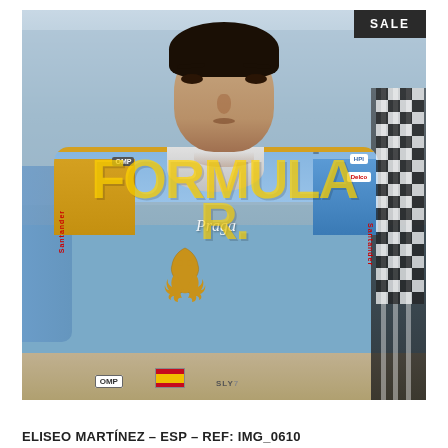[Figure (photo): Photo of racing driver Eliseo Martínez wearing a blue, white and gold racing suit with Praga branding, OMP logo, Spanish flag, and Santander sponsor. A watermark reading 'FORMULA' is overlaid across the image. A dark 'SALE' badge appears in the top-right corner of the photo.]
ELISEO MARTÍNEZ – ESP – REF: IMG_0610